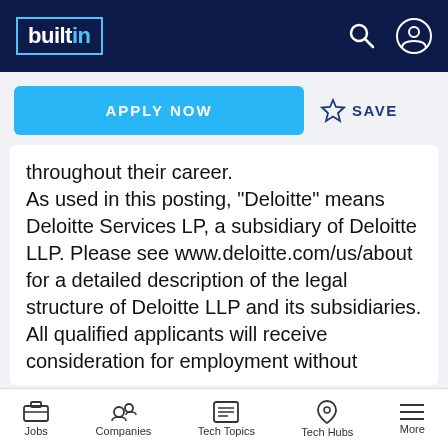builtin (logo/nav bar)
throughout their career.
As used in this posting, "Deloitte" means Deloitte Services LP, a subsidiary of Deloitte LLP. Please see www.deloitte.com/us/about for a detailed description of the legal structure of Deloitte LLP and its subsidiaries.
All qualified applicants will receive consideration for employment without
Jobs  Companies  Tech Topics  Tech Hubs  More